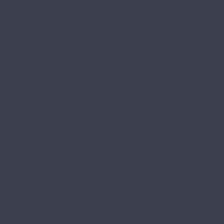but could be considered to have a responsibilities for an amount of time stigma attached to it and which many may not be covered by many Corinth consists of a mix of cognitive behavi help of group therapy. Most mental towards psychological help when it co
What Is Inpatient Rehab?
Inpatient rehab is a 24/7 treatment addiction and is a particularly good Kentucky who have had criminal be provides support for them whenever t
There are several advantages to at therapeutic while at the same time constant support network and can c being an active and productive part o
Inpatient drug rehab programs in C influences that their social circle mig Some inpatient drug treatment progr the patient is able to open up and s healthy environment conductive towa
Inpatient drug rehab centers in Corint months at a time, depending on the p health staff trained in addiction twenty This is done through a heavy dose which is done both individually and i conductive towards healing from a d patient in there get better.
The right Corinth outpatient drug reh mental health professional since they type of results and aftercare they do will need to continue getting psycho